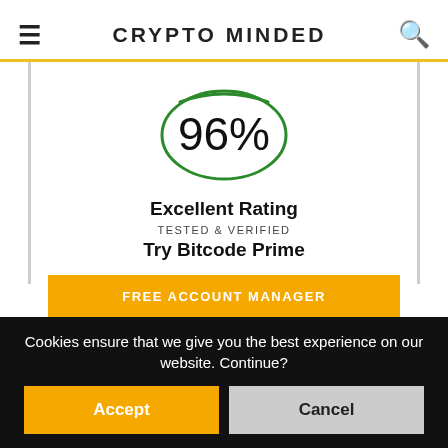CRYPTO MINDED
[Figure (infographic): Oval/ellipse drawn in green ink style encircling the text 96%, representing a 96% excellent rating score]
Excellent Rating
TESTED & VERIFIED
Try Bitcode Prime
FREE ACCOUNT MANAGER
Cookies ensure that we give you the best experience on our website. Continue?
Accept
Cancel